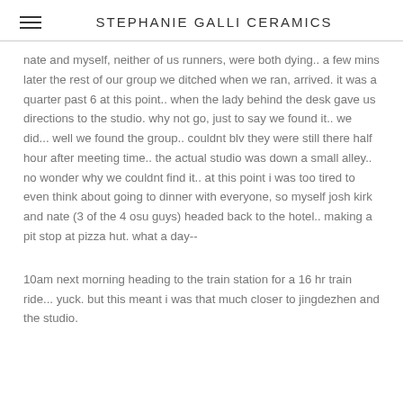STEPHANIE GALLI CERAMICS
nate and myself, neither of us runners, were both dying.. a few mins later the rest of our group we ditched when we ran, arrived. it was a quarter past 6 at this point.. when the lady behind the desk gave us directions to the studio. why not go, just to say we found it.. we did... well we found the group.. couldnt blv they were still there half hour after meeting time.. the actual studio was down a small alley.. no wonder why we couldnt find it.. at this point i was too tired to even think about going to dinner with everyone, so myself josh kirk and nate (3 of the 4 osu guys) headed back to the hotel.. making a pit stop at pizza hut. what a day--
10am next morning heading to the train station for a 16 hr train ride... yuck. but this meant i was that much closer to jingdezhen and the studio.